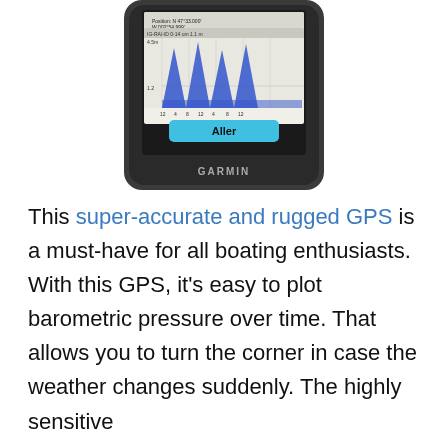[Figure (photo): A Garmin GPS device (GPSMAP model) showing a barometric pressure graph on its screen with blue mountain-shaped peaks. The screen also shows GPS position coordinates (N 47°33.000', W 002°54.999') and a cyan 'Aller' button. The device has a black rugged body with the GARMIN logo at the bottom.]
This super-accurate and rugged GPS is a must-have for all boating enthusiasts. With this GPS, it's easy to plot barometric pressure over time. That allows you to turn the corner in case the weather changes suddenly. The highly sensitive